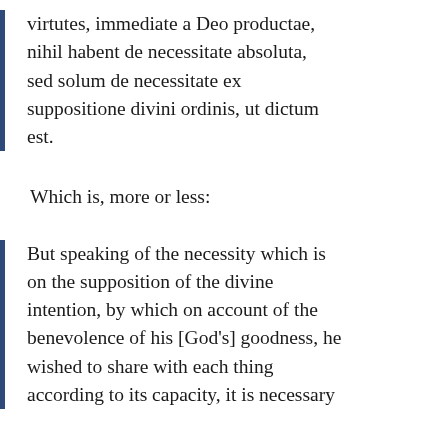virtutes, immediate a Deo productae, nihil habent de necessitate absoluta, sed solum de necessitate ex suppositione divini ordinis, ut dictum est.
Which is, more or less:
But speaking of the necessity which is on the supposition of the divine intention, by which on account of the benevolence of his [God's] goodness, he wished to share with each thing according to its capacity, it is necessary